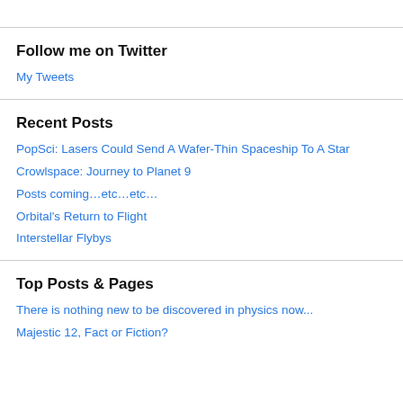Follow me on Twitter
My Tweets
Recent Posts
PopSci: Lasers Could Send A Wafer-Thin Spaceship To A Star
Crowlspace: Journey to Planet 9
Posts coming…etc…etc…
Orbital's Return to Flight
Interstellar Flybys
Top Posts & Pages
There is nothing new to be discovered in physics now...
Majestic 12, Fact or Fiction?